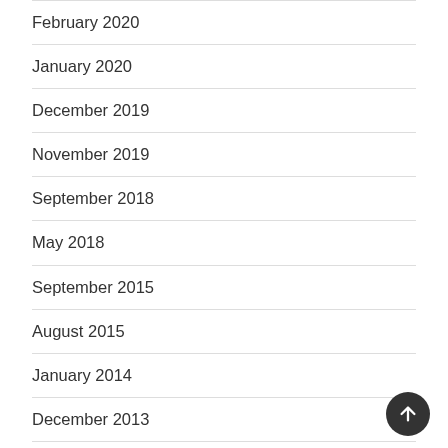February 2020
January 2020
December 2019
November 2019
September 2018
May 2018
September 2015
August 2015
January 2014
December 2013
November 2013
August 2013